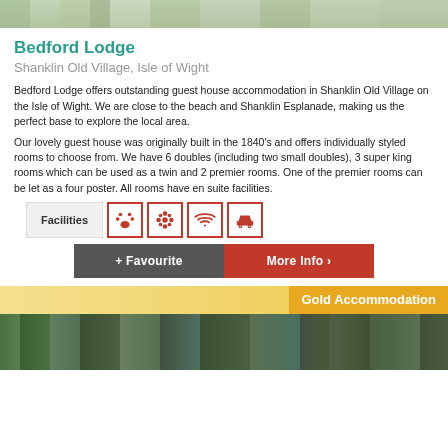[Figure (photo): Top of a building or hotel exterior photo, cropped to just show the roofline and sky area]
Bedford Lodge
Shanklin Old Village, Isle of Wight
Bedford Lodge offers outstanding guest house accommodation in Shanklin Old Village on the Isle of Wight. We are close to the beach and Shanklin Esplanade, making us the perfect base to explore the local area.
Our lovely guest house was originally built in the 1840's and offers individually styled rooms to choose from. We have 6 doubles (including two small doubles), 3 super king rooms which can be used as a twin and 2 premier rooms. One of the premier rooms can be let as a four poster. All rooms have en suite facilities.
[Figure (infographic): Facilities row showing label 'Facilities' followed by four red-bordered icons: paw print, flower/spa, wifi signal, and car/parking]
[Figure (infographic): Two buttons: '+ Favourite' on dark grey background and 'More Info >' on red background]
Gold Accommodation
[Figure (photo): Bottom photo showing trees and garden outside a property]